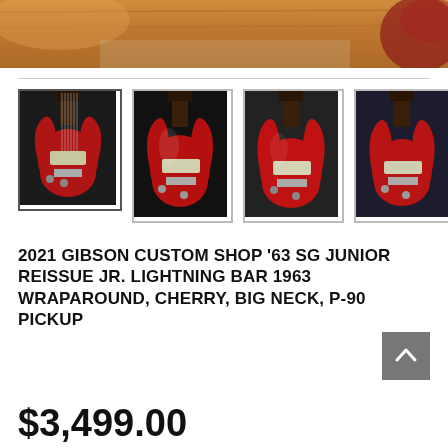[Figure (photo): Top portion of a guitar body (warm wood tones, red guitar edge visible on right), serving as a decorative banner image at the top of a product listing page.]
[Figure (photo): Four thumbnail photos of a red Gibson SG Junior electric guitar from different angles. First thumbnail has a border indicating it is selected.]
2021 GIBSON CUSTOM SHOP '63 SG JUNIOR REISSUE JR. LIGHTNING BAR 1963 WRAPAROUND, CHERRY, BIG NECK, P-90 PICKUP
$3,499.00